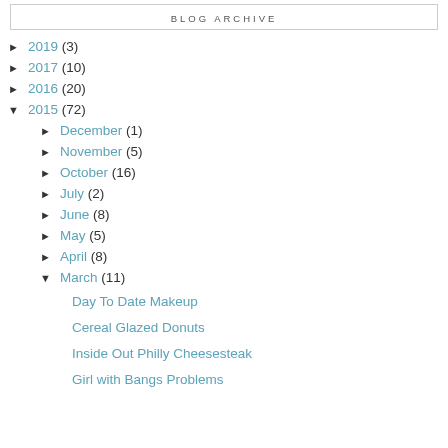BLOG ARCHIVE
▶ 2019 (3)
▶ 2017 (10)
▶ 2016 (20)
▼ 2015 (72)
▶ December (1)
▶ November (5)
▶ October (16)
▶ July (2)
▶ June (8)
▶ May (5)
▶ April (8)
▼ March (11)
Day To Date Makeup
Cereal Glazed Donuts
Inside Out Philly Cheesesteak
Girl with Bangs Problems